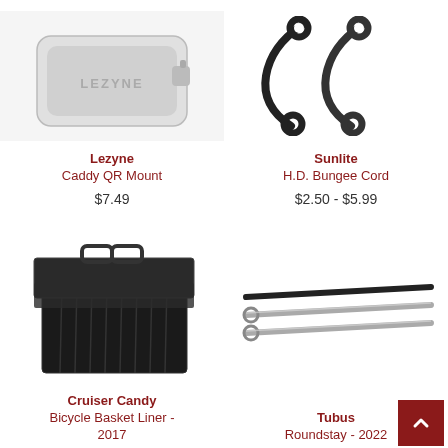[Figure (photo): Lezyne Caddy QR Mount product photo - gray/silver mounting device]
Lezyne
Caddy QR Mount
$7.49
[Figure (photo): Sunlite H.D. Bungee Cord product photo - black bungee cords with hooks]
Sunlite
H.D. Bungee Cord
$2.50 - $5.99
[Figure (photo): Cruiser Candy Bicycle Basket Liner 2017 product photo - black fabric basket liner]
Cruiser Candy
Bicycle Basket Liner - 2017
[Figure (photo): Tubus Roundstay 2022 product photo - metal rods/stays]
Tubus
Roundstay - 2022